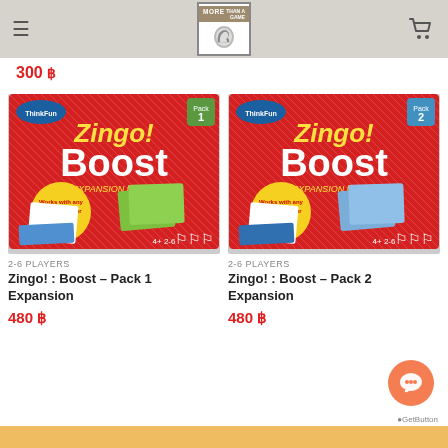More Than A Game - logo and navigation header
300 ฿
[Figure (photo): Zingo! Boost Pack 1 Expansion board game box - red box with green tiles, frog imagery]
2-6 PLAYERS
Zingo! : Boost – Pack 1 Expansion
480 ฿
[Figure (photo): Zingo! Boost Pack 2 Expansion board game box - red box with blue tiles, robot imagery]
2-6 PLAYERS
Zingo! : Boost – Pack 2 Expansion
480 ฿